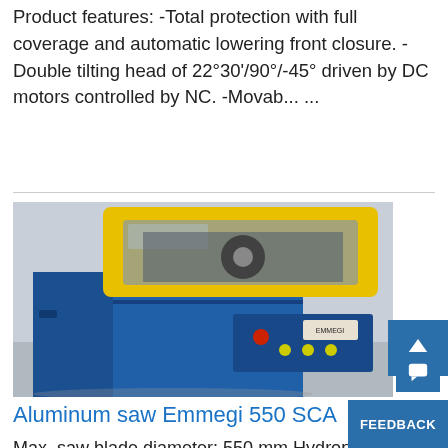Product features: -Total protection with full coverage and automatic lowering front closure. -Double tilting head of 22°30'/90°/-45° driven by DC motors controlled by NC. -Movab... ...
[Figure (photo): Photo of a blue aluminum saw machine (Emmegi 550 SCA) with yellow safety guard/enclosure on top and control panel with buttons on the front lower section.]
Aluminum saw Emmegi 550 SCA
Max. saw blade diameter: 550 mm Hydropneumatic saw blade feed via 2 hand controls Pneumatic material clamps Minimum quantity spray device Table can be rotated in both directions in...